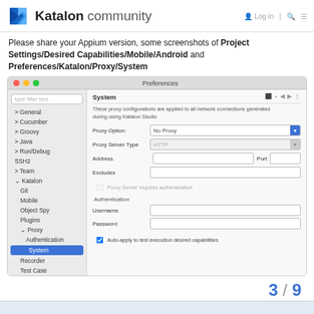Katalon community
Please share your Appium version, some screenshots of Project Settings/Desired Capabilities/Mobile/Android and Preferences/Katalon/Proxy/System
[Figure (screenshot): Screenshot of Katalon Studio Preferences dialog showing the System proxy settings panel. Left sidebar shows tree navigation with Katalon > Proxy > System selected (highlighted in blue). Right panel shows proxy configuration fields: Proxy Option (No Proxy), Proxy Server Type (HTTP), Address, Port, Excludes fields, Proxy Server requires authentication checkbox (unchecked), Authentication section with Username and Password fields, and Auto-apply to test execution desired capabilities checkbox (checked).]
3 / 9